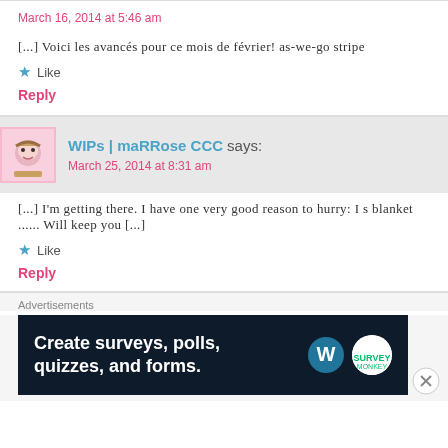March 16, 2014 at 5:46 am
[...] Voici les avancés pour ce mois de février! as-we-go stripe
Like
Reply
WIPs | maRRose CCC says:
March 25, 2014 at 8:31 am
[...] I'm getting there. I have one very good reason to hurry: I s blanket ...... Will keep you [...]
Like
Reply
Advertisements
[Figure (screenshot): Dark advertisement banner: Create surveys, polls, quizzes, and forms. WordPress and SurveyMon logos visible.]